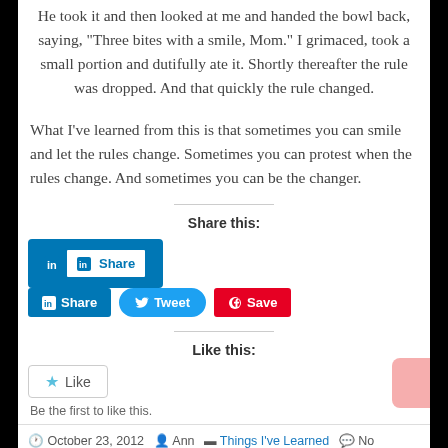He took it and then looked at me and handed the bowl back, saying, “Three bites with a smile, Mom.” I grimaced, took a small portion and dutifully ate it. Shortly thereafter the rule was dropped. And that quickly the rule changed.
What I’ve learned from this is that sometimes you can smile and let the rules change. Sometimes you can protest when the rules change. And sometimes you can be the changer.
Share this:
[Figure (other): Social share buttons: LinkedIn Share, Tweet, Pinterest Save]
Like this:
[Figure (other): Like button widget with star icon]
Be the first to like this.
October 23, 2012  Ann  Things I've Learned  No